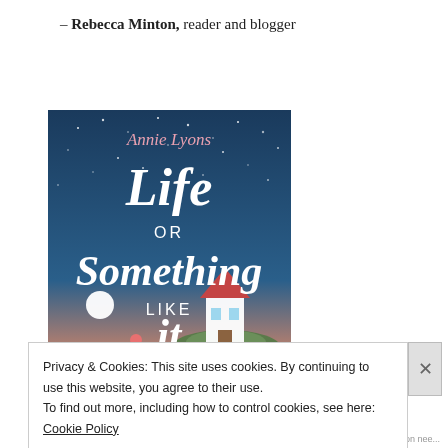– Rebecca Minton, reader and blogger
[Figure (illustration): Book cover for 'Life or Something Like It' by Annie Lyons. Dark teal/blue background with stars, white script lettering for the title, pink author name at top, illustration of a woman sitting on a dock/bridge at night with a glowing moon, a quaint house on a rocky island in the background.]
Privacy & Cookies: This site uses cookies. By continuing to use this website, you agree to their use.
To find out more, including how to control cookies, see here: Cookie Policy
Close and accept